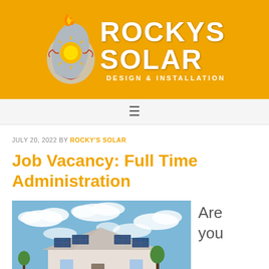[Figure (logo): Rocky's Solar Design & Installation logo on orange background with flame/sun mascot icon]
Navigation menu bar with hamburger icon
JULY 20, 2022 BY ROCKY'S SOLAR
Job Vacancy: Full Time Administration
[Figure (photo): Photo of a house with solar panels on roof against a partly cloudy blue sky]
Are you